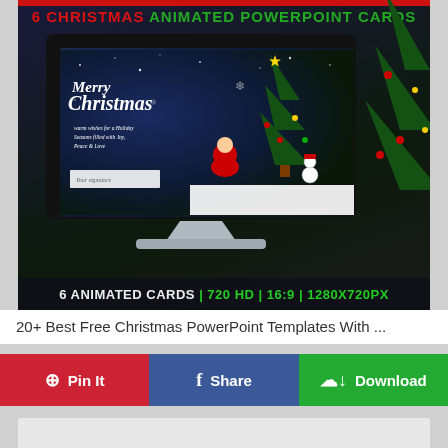[Figure (illustration): A screenshot of a Christmas animated PowerPoint cards product showing a monitor with a Merry Christmas card design featuring Santa, snowman, Christmas tree, and text '6 CHRISTMAS ANIMATED POWERPOINT CARDS' and '6 ANIMATED CARDS | 720 HD | 16:9 | 1280X720PX']
20+ Best Free Christmas PowerPoint Templates With ...
Pin It
Share
Download